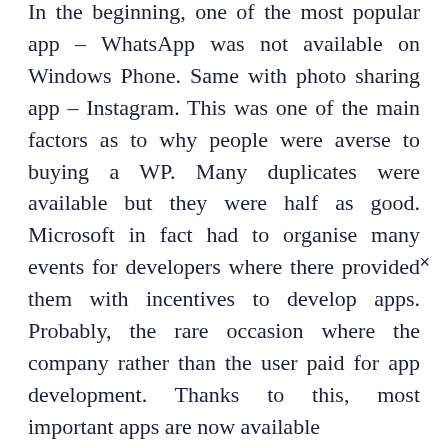In the beginning, one of the most popular IM app – WhatsApp was not available on Windows Phone. Same with photo sharing app – Instagram. This was one of the main factors as to why people were averse to buying a WP. Many duplicates were available but they were half as good. Microsoft in fact had to organise many events for developers where there provided them with incentives to develop apps. Probably, the rare occasion where the company rather than the user paid for app development. Thanks to this, most important apps are now available ×